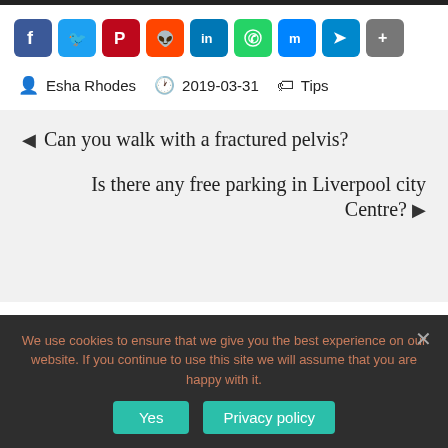[Figure (other): Row of social media share buttons: Facebook, Twitter, Pinterest, Reddit, LinkedIn, WhatsApp, Messenger, Telegram, Share]
Esha Rhodes   2019-03-31   Tips
◄ Can you walk with a fractured pelvis?
Is there any free parking in Liverpool city Centre? ►
We use cookies to ensure that we give you the best experience on our website. If you continue to use this site we will assume that you are happy with it.
Yes   Privacy policy